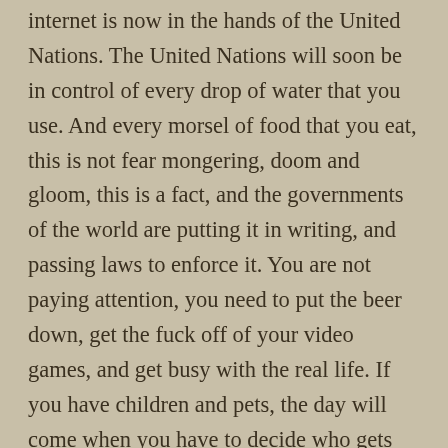internet is now in the hands of the United Nations. The United Nations will soon be in control of every drop of water that you use. And every morsel of food that you eat, this is not fear mongering, doom and gloom, this is a fact, and the governments of the world are putting it in writing, and passing laws to enforce it. You are not paying attention, you need to put the beer down, get the fuck off of your video games, and get busy with the real life. If you have children and pets, the day will come when you have to decide who gets that drink of water, your dog or your child. If you think that that is an outrageous statement, that proves my point, you are not paying attention. These chips will be installed in every single thing you buy, every can of soup will be registered to you when you check out of the super market, and that can of soup will be tracked, if you drop that can of soup off at your neighbors house, and it is